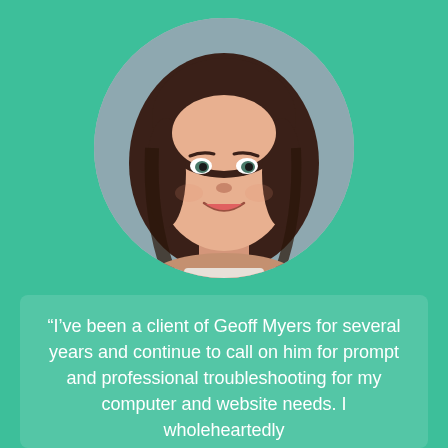[Figure (photo): Circular cropped headshot of a smiling woman with long dark brown hair, on a gray-blue background]
“I’ve been a client of Geoff Myers for several years and continue to call on him for prompt and professional troubleshooting for my computer and website needs. I wholeheartedly